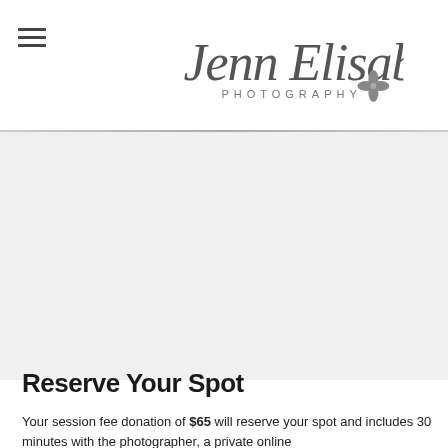[Figure (logo): Jenn Elisabeth Photography script logo with decorative four-leaf clover symbol]
Reserve Your Spot
Your session fee donation of $65 will reserve your spot and includes 30 minutes with the photographer, a private online